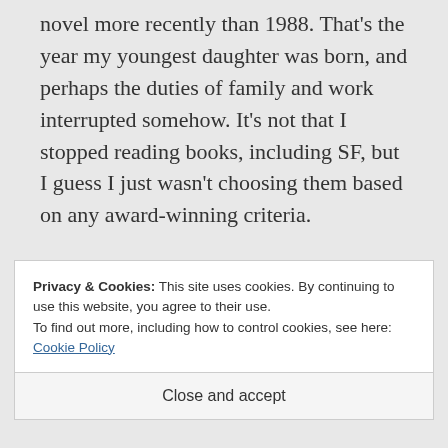novel more recently than 1988. That's the year my youngest daughter was born, and perhaps the duties of family and work interrupted somehow. It's not that I stopped reading books, including SF, but I guess I just wasn't choosing them based on any award-winning criteria.
Take a look at the tables below, and if
Privacy & Cookies: This site uses cookies. By continuing to use this website, you agree to their use.
To find out more, including how to control cookies, see here: Cookie Policy
Close and accept